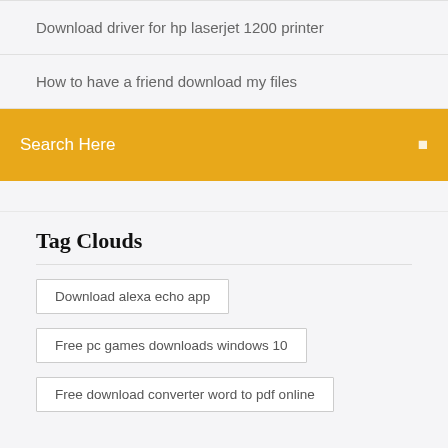Download driver for hp laserjet 1200 printer
How to have a friend download my files
Search Here
Tag Clouds
Download alexa echo app
Free pc games downloads windows 10
Free download converter word to pdf online